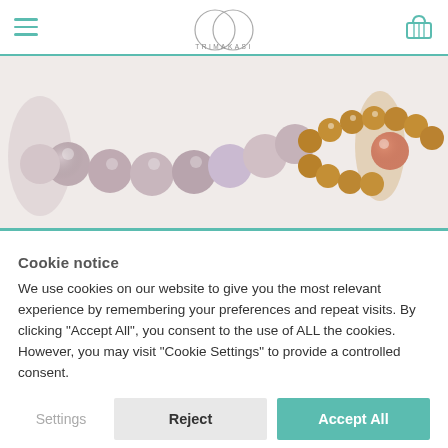TRIMAKASI
[Figure (photo): Close-up of two beaded bracelets side by side. Left bracelet has large matte pink/grey stone beads. Right bracelet has gold-tone metallic beads with a rose/peach stone centerpiece.]
Cookie notice
We use cookies on our website to give you the most relevant experience by remembering your preferences and repeat visits. By clicking "Accept All", you consent to the use of ALL the cookies. However, you may visit "Cookie Settings" to provide a controlled consent.